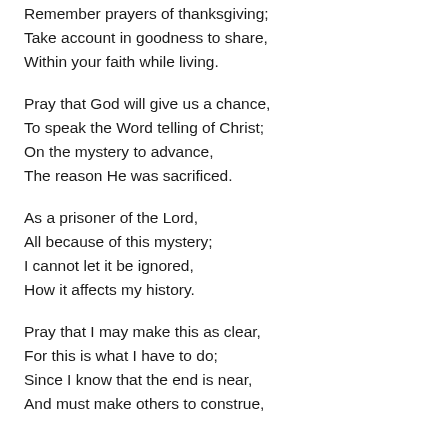Remember prayers of thanksgiving;
Take account in goodness to share,
Within your faith while living.
Pray that God will give us a chance,
To speak the Word telling of Christ;
On the mystery to advance,
The reason He was sacrificed.
As a prisoner of the Lord,
All because of this mystery;
I cannot let it be ignored,
How it affects my history.
Pray that I may make this as clear,
For this is what I have to do;
Since I know that the end is near,
And must make others to construe,